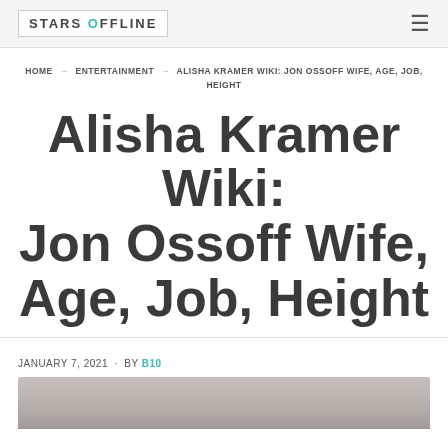STARS OFFLINE
HOME → ENTERTAINMENT → ALISHA KRAMER WIKI: JON OSSOFF WIFE, AGE, JOB, HEIGHT
Alisha Kramer Wiki: Jon Ossoff Wife, Age, Job, Height
JANUARY 7, 2021 · By B10
[Figure (photo): Photo of Alisha Kramer and Jon Ossoff, partially visible at the bottom of the page]